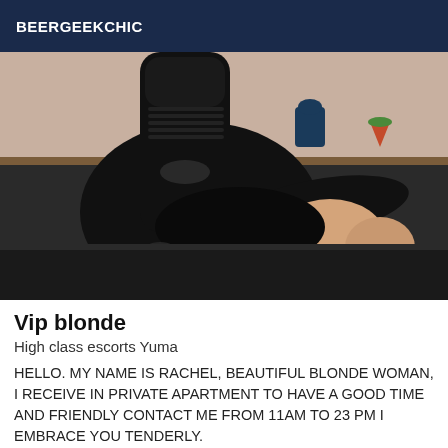BEERGEEKCHIC
[Figure (photo): A person wearing black leather outfit with black gloves, seated on a dark surface with a shelf/table in the background.]
Vip blonde
High class escorts Yuma
HELLO. MY NAME IS RACHEL, BEAUTIFUL BLONDE WOMAN, I RECEIVE IN PRIVATE APARTMENT TO HAVE A GOOD TIME AND FRIENDLY CONTACT ME FROM 11AM TO 23 PM I EMBRACE YOU TENDERLY.